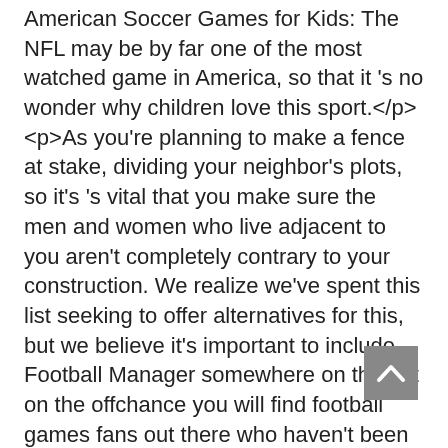American Soccer Games for Kids: The NFL may be by far one of the most watched game in America, so that it 's no wonder why children love this sport.</p><p>As you're planning to make a fence at stake, dividing your neighbor's plots, so it's 's vital that you make sure the men and women who live adjacent to you aren't completely contrary to your construction. We realize we've spent this list seeking to offer alternatives for this, but we believe it's important to include Football Manager somewhere on this list on the offchance you will find football games fans out there who haven't been sucked in by its own addictive one-more-turn gameplay. The career mode can't hold a candle to this of Football Manager'sout on the pitch it's unmatched. Surely you're conversant with both Watch Dogs two and Football Manager 20 20, nevertheless, you